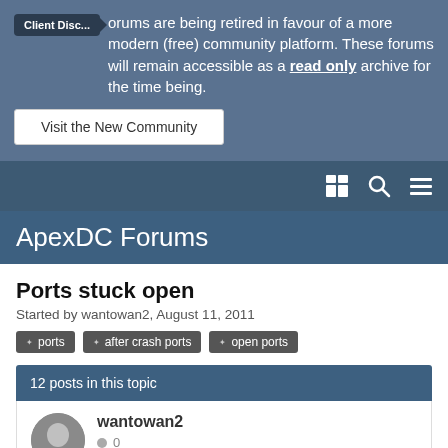Client Disc...
orums are being retired in favour of a more modern (free) community platform. These forums will remain accessible as a read only archive for the time being.
Visit the New Community
ApexDC Forums
Ports stuck open
Started by wantowan2, August 11, 2011
ports
after crash ports
open ports
12 posts in this topic
wantowan2  0